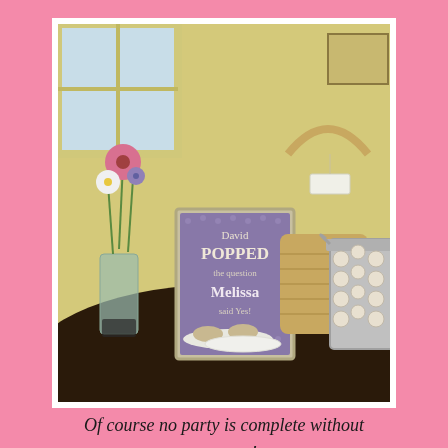[Figure (photo): Party decoration table display with a framed sign reading 'David POPPED the question Melissa said Yes!', a mason jar with wildflowers including a pink coneflower and daisies, a wicker bag/basket, and a metallic bucket decorated with circular paper medallions. Items are arranged on a dark round table.]
Of course no party is complete without popcorn!
[Figure (photo): Partial view of an outdoor scene, appears to be a party or gathering setting with trees and people visible.]